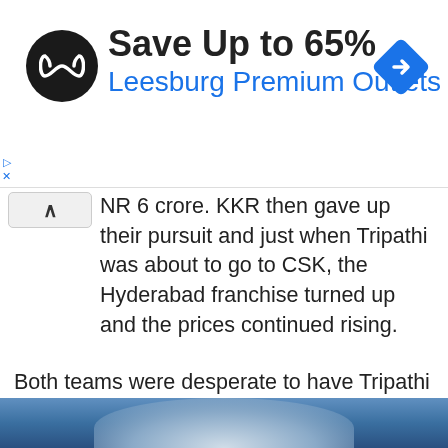[Figure (infographic): Advertisement banner: logo (black circle with white infinity-like symbol), bold text 'Save Up to 65%', blue text 'Leesburg Premium Outlets', blue diamond navigation icon on right]
NR 6 crore. KKR then gave up their pursuit and just when Tripathi was about to go to CSK, the Hyderabad franchise turned up and the prices continued rising.
Both teams were desperate to have Tripathi on their side and it was SRH in the end who outbid Chennai. Although the amount dished out might seem a bit too high for the uncapped Indian, both SRH and Tripathi will be happy with the final outcome.
[Figure (photo): Bottom strip showing partial photo of a cricket player in blue uniform]